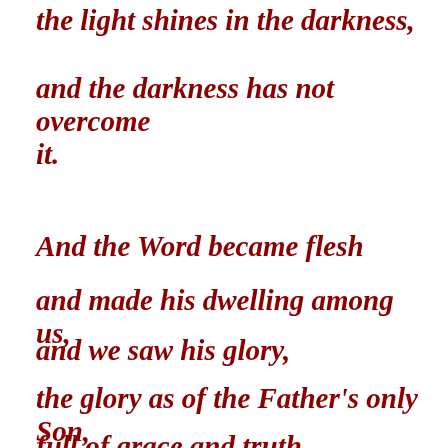the light shines in the darkness,
and the darkness has not overcome it.
And the Word became flesh
and made his dwelling among us,
and we saw his glory,
the glory as of the Father's only Son,
full of grace and truth,